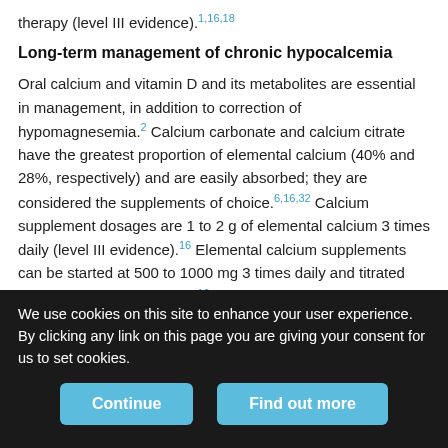therapy (level III evidence).1,16,18
Long-term management of chronic hypocalcemia
Oral calcium and vitamin D and its metabolites are essential in management, in addition to correction of hypomagnesemia.2 Calcium carbonate and calcium citrate have the greatest proportion of elemental calcium (40% and 28%, respectively) and are easily absorbed; they are considered the supplements of choice.6,16,32 Calcium supplement dosages are 1 to 2 g of elemental calcium 3 times daily (level III evidence).16 Elemental calcium supplements can be started at 500 to 1000 mg 3 times daily and titrated upward (level III evidence).16 Asymptomatic electrocardiography changes usually normalize with calcium and calcitriol supplementation (level II
We use cookies on this site to enhance your user experience. By clicking any link on this page you are giving your consent for us to set cookies.